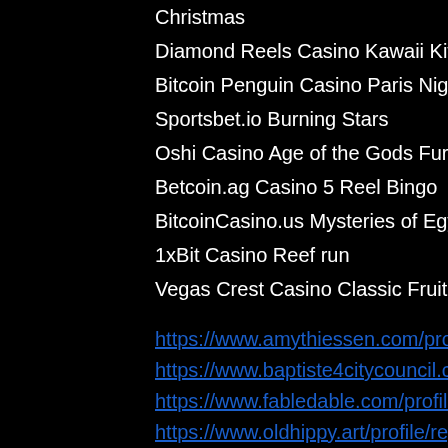Christmas
Diamond Reels Casino Kawaii Kitty
Bitcoin Penguin Casino Paris Nights
Sportsbet.io Burning Stars
Oshi Casino Age of the Gods Furious Four
Betcoin.ag Casino 5 Reel Bingo
BitcoinCasino.us Mysteries of Egypt
1xBit Casino Reef run
Vegas Crest Casino Classic Fruit
https://www.amythiessen.com/profile/shanroatsl/profile
https://www.baptiste4citycouncil.com/profile/arditolaxtonu/profile
https://www.fabledable.com/profile/googerivetp/profile
https://www.oldhippy.art/profile/reginabearem/profile